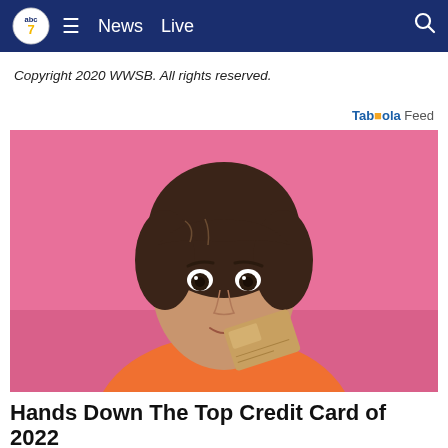abc7  News  Live
Copyright 2020 WWSB. All rights reserved.
Taboola Feed
[Figure (photo): Young woman with brown hair and bangs, holding a gold/tan credit card near her face, smiling slightly. Pink background. She is wearing an orange top.]
Hands Down The Top Credit Card of 2022